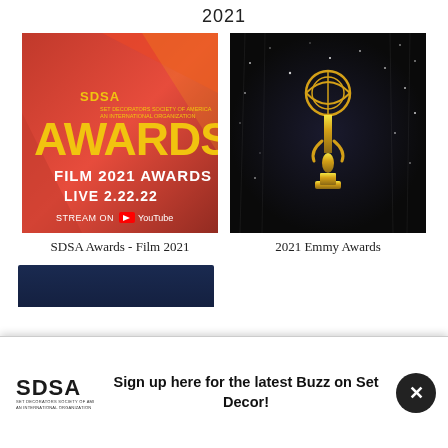2021
[Figure (photo): SDSA Awards Film 2021 promotional image with red background showing SDSA AWARDS text, FILM 2021 AWARDS, LIVE 2.22.22, STREAM ON YouTube]
SDSA Awards - Film 2021
[Figure (photo): 2021 Emmy Awards gold statuette against dark sparkling background]
2021 Emmy Awards
[Figure (photo): Partial view of a dark blue image below the grid]
Sign up here for the latest Buzz on Set Decor!